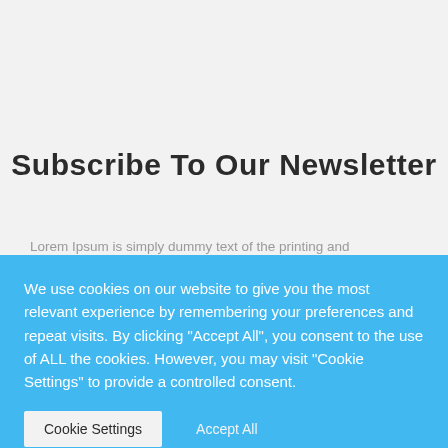Subscribe To Our Newsletter
Lorem Ipsum is simply dummy text of the printing and
We use cookies on our website to give you the most relevant experience by remembering your preferences and repeat visits. By clicking "Accept All", you consent to the use of ALL the cookies. However, you may visit "Cookie Settings" to provide a controlled consent.
Cookie Settings
Accept All